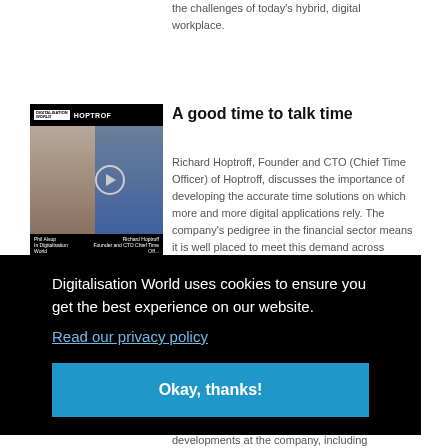the challenges of today's hybrid, digital workplace.
[Figure (screenshot): Video thumbnail showing two people in a video call, with 'Digitalisation World' logo on the left and 'HOPTROFF' text on the right in the top bar. A play button is visible. Bottom bar shows 'Phil Alsop, In Digitalisation World' and 'Richard Hoptroff, Founder and CTO Chief Time Off...']
A good time to talk time
Richard Hoptroff, Founder and CTO (Chief Time Officer) of Hoptroff, discusses the importance of developing the accurate time solutions on which more and more digital applications rely. The company's pedigree in the financial sector means it is well placed to meet this demand across
Digitalisation World uses cookies to ensure you get the best experience on our website. Read our privacy policy
Okay, thanks!
developments at the company, including